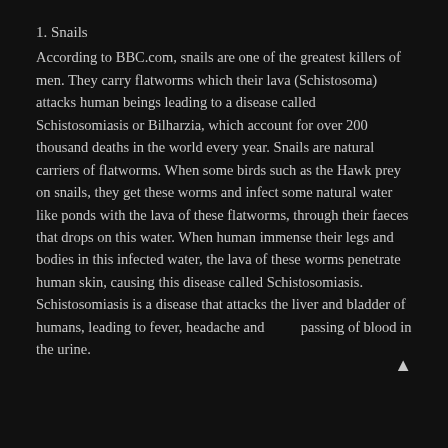1. Snails
According to BBC.com, snails are one of the greatest killers of men. They carry flatworms which their lava (Schistosoma) attacks human beings leading to a disease called Schistosomiasis or Bilharzia, which account for over 200 thousand deaths in the world every year. Snails are natural carriers of flatworms. When some birds such as the Hawk prey on snails, they get these worms and infect some natural water like ponds with the lava of these flatworms, through their faeces that drops on this water. When human immense their legs and bodies in this infected water, the lava of these worms penetrate human skin, causing this disease called Schistosomiasis. Schistosomiasis is a disease that attacks the liver and bladder of humans, leading to fever, headache and passing of blood in the urine.